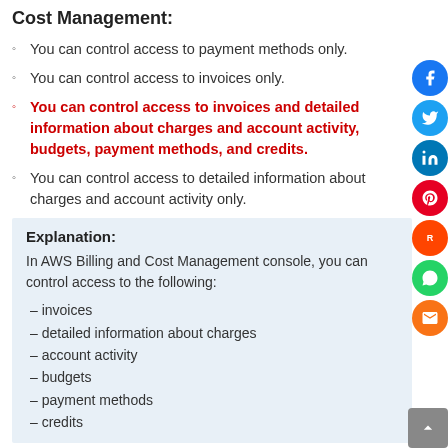Cost Management:
You can control access to payment methods only.
You can control access to invoices only.
You can control access to invoices and detailed information about charges and account activity, budgets, payment methods, and credits.
You can control access to detailed information about charges and account activity only.
Explanation:
In AWS Billing and Cost Management console, you can control access to the following:
– invoices
– detailed information about charges
– account activity
– budgets
– payment methods
– credits
What does Amazon IAM provide?